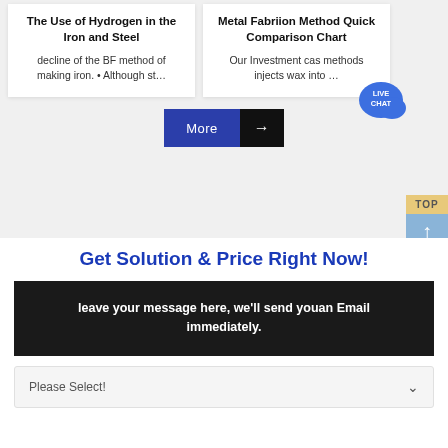The Use of Hydrogen in the Iron and Steel
decline of the BF method of making iron. • Although st…
Metal Fabriion Method Quick Comparison Chart
Our Investment cas methods injects wax into …
[Figure (other): More button with blue background and black arrow section]
[Figure (other): Live Chat speech bubble badge overlay on top right]
[Figure (other): TOP button with up arrow, gold label and blue arrow section on far right]
Get Solution & Price Right Now!
leave your message here, we'll send youan Email immediately.
Please Select!